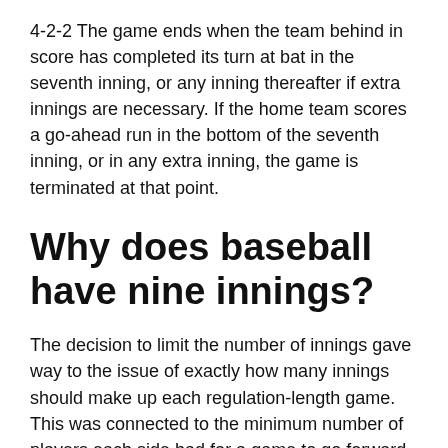4-2-2 The game ends when the team behind in score has completed its turn at bat in the seventh inning, or any inning thereafter if extra innings are necessary. If the home team scores a go-ahead run in the bottom of the seventh inning, or in any extra inning, the game is terminated at that point.
Why does baseball have nine innings?
The decision to limit the number of innings gave way to the issue of exactly how many innings should make up each regulation-length game. This was connected to the minimum number of players each side had for a game to go forward. Generally, each team played with nine men, but this was not